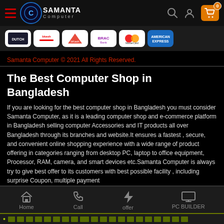Samanta Computer - Navigation Header with logo, search, user, and cart icons
[Figure (logo): Payment method logos: Dutch Bangla Bank, bKash, Nexus Pay, Brac Bank, and American Express]
Samanta Computer © 2021 All Rights Reserved.
The Best Computer Shop in Bangladesh
If you are looking for the best computer shop in Bangladesh you must consider Samanta Computer, as it is a leading computer shop and e-commerce platform in Bangladesh selling computer Accessories and IT products all over Bangladesh through its branches and website.It ensures a fastest , secure, and convenient online shopping experience with a wide range of product offering in categories ranging from desktop PC, laptop to office equipment, Processor, RAM, camera, and smart devices etc.Samanta Computer is always try to give best offer to its customers with best possible facility , including surprise Coupon, multiple payment
Home | Call | offer | PC BUILDER